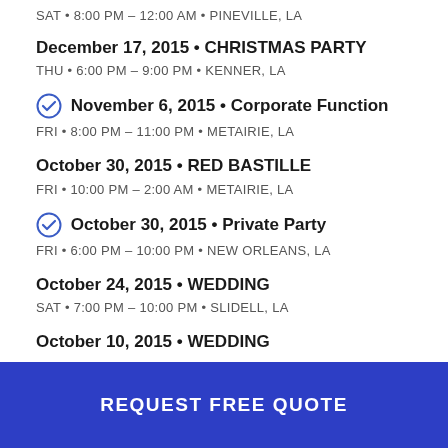SAT • 8:00 PM – 12:00 AM • PINEVILLE, LA
December 17, 2015 • CHRISTMAS PARTY
THU • 6:00 PM – 9:00 PM • KENNER, LA
November 6, 2015 • Corporate Function
FRI • 8:00 PM – 11:00 PM • METAIRIE, LA
October 30, 2015 • RED BASTILLE
FRI • 10:00 PM – 2:00 AM • METAIRIE, LA
October 30, 2015 • Private Party
FRI • 6:00 PM – 10:00 PM • NEW ORLEANS, LA
October 24, 2015 • WEDDING
SAT • 7:00 PM – 10:00 PM • SLIDELL, LA
October 10, 2015 • WEDDING
REQUEST FREE QUOTE